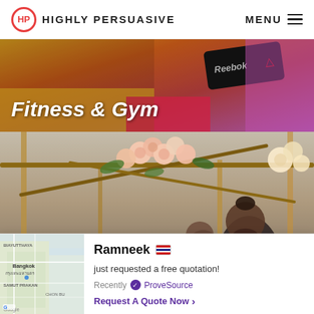HP HIGHLY PERSUASIVE | MENU
[Figure (photo): Fitness & Gym banner image showing Reebok equipment on colorful background]
Fitness & Gym
[Figure (photo): Wedding arch with flowers and couple underneath, rustic bamboo arch decorated with roses]
Ramneek (Thai flag) just requested a free quotation! Recently ✓ ProveSource  Request A Quote Now >